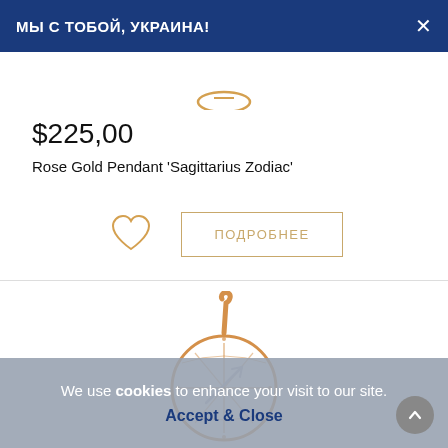МЫ С ТОБОЙ, УКРАИНА!
[Figure (photo): Top portion of a rose gold pendant partially visible at the top of the product area]
$225,00
Rose Gold Pendant 'Sagittarius Zodiac'
[Figure (illustration): Heart (wishlist) icon and ПОДРОБНЕЕ (Details) button in gold outline style]
[Figure (photo): Rose gold circular pendant with Sagittarius Zodiac design, filigree openwork pattern]
We use cookies to enhance your visit to our site. Accept & Close